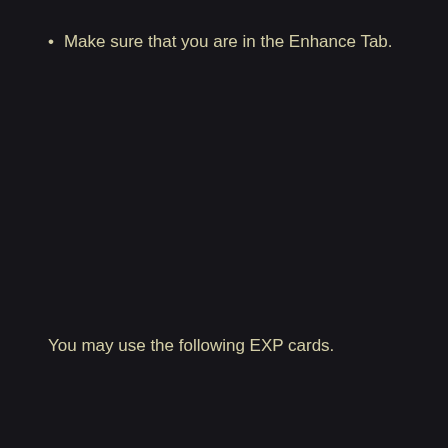Make sure that you are in the Enhance Tab.
You may use the following EXP cards.